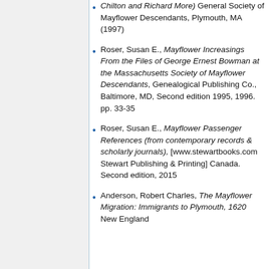Chilton and Richard More) General Society of Mayflower Descendants, Plymouth, MA (1997)
Roser, Susan E., Mayflower Increasings From the Files of George Ernest Bowman at the Massachusetts Society of Mayflower Descendants, Genealogical Publishing Co., Baltimore, MD, Second edition 1995, 1996. pp. 33-35
Roser, Susan E., Mayflower Passenger References (from contemporary records & scholarly journals), [www.stewartbooks.com Stewart Publishing & Printing] Canada. Second edition, 2015
Anderson, Robert Charles, The Mayflower Migration: Immigrants to Plymouth, 1620 New England